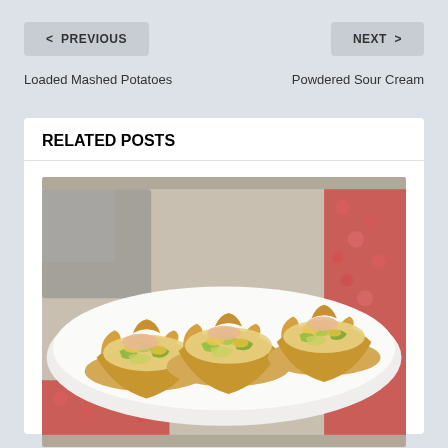< PREVIOUS
NEXT >
Loaded Mashed Potatoes
Powdered Sour Cream
RELATED POSTS
[Figure (photo): Three wonton cup appetizers filled with avocado, corn, and a creamy sauce, arranged on a white rectangular plate with colorful fabric in the background.]